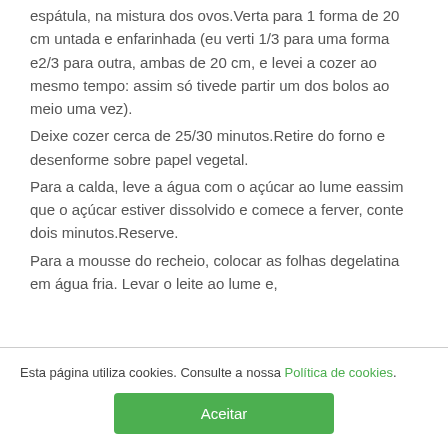incorpore delicadamente as farinhas, com uma espátula, na mistura dos ovos.Verta para 1 forma de 20 cm untada e enfarinhada (eu verti 1/3 para uma forma e2/3 para outra, ambas de 20 cm, e levei a cozer ao mesmo tempo: assim só tivede partir um dos bolos ao meio uma vez).
Deixe cozer cerca de 25/30 minutos.Retire do forno e desenforme sobre papel vegetal.
Para a calda, leve a água com o açúcar ao lume eassim que o açúcar estiver dissolvido e comece a ferver, conte dois minutos.Reserve.
Para a mousse do recheio, colocar as folhas degelatina em água fria. Levar o leite ao lume e,
Esta página utiliza cookies. Consulte a nossa Política de cookies.